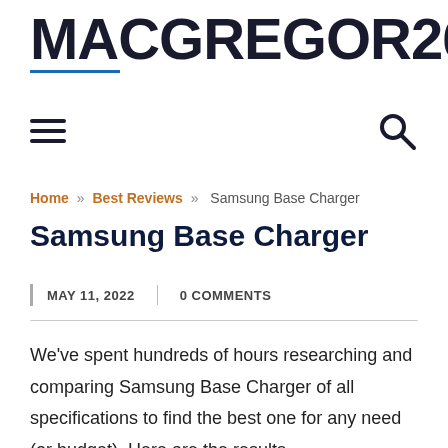MACGREGOR26
Home » Best Reviews » Samsung Base Charger
Samsung Base Charger
MAY 11, 2022  |  0 COMMENTS
We've spent hundreds of hours researching and comparing Samsung Base Charger of all specifications to find the best one for any need (or budget). Here are the results.